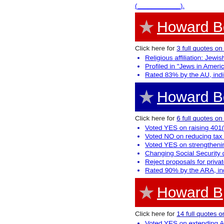(____________).
★ Howard Berm...
Click here for 3 full quotes on Princip...
Religious affiliation: Jewish. (No...
Profiled in "Jews in American Po...
Rated 83% by the AU, indicating...
★ Howard Be...
Click here for 6 full quotes on Social...
Voted YES on raising 401(k) lim...
Voted NO on reducing tax paym...
Voted YES on strengthening the...
Changing Social Security dispro...
Reject proposals for private savi...
Rated 90% by the ARA, indicati...
★ Howard B...
Click here for 14 full quotes on Tax R...
Voted YES on extending AMT ...